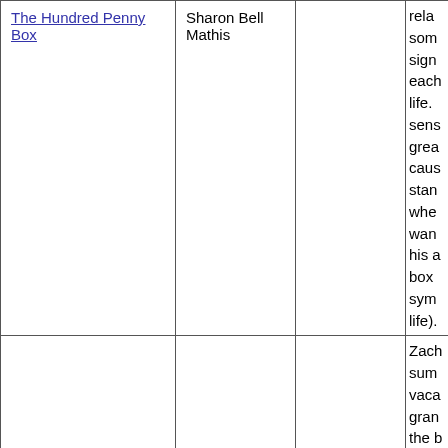| The Hundred Penny Box | Sharon Bell Mathis |  | rela
som
sign
each
life.
sens
grea
caus
stan
whe
wan
his a
box
sym
life). |
|  |  |  | Zach
sum
vaca
gran
the b
a me
beca
learn |